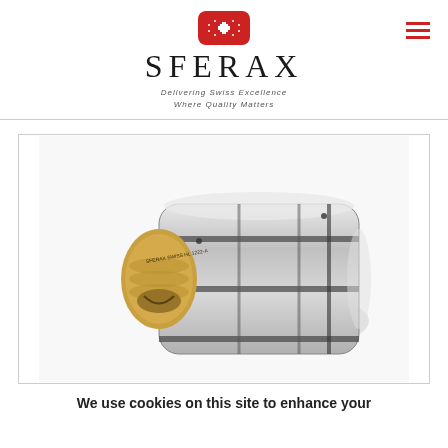[Figure (logo): Sferax logo: red rounded rectangle badge with white cross and dots, with brand name SFERAX in large serif letters and tagline 'Delivering Swiss Excellence Where Quality Matters']
[Figure (photo): Close-up photo of a polished chrome cylindrical ball spline or linear bearing component with a gold/brass threaded end cap, labeled 'SFERAX SWISS HL 1222-A']
We use cookies on this site to enhance your